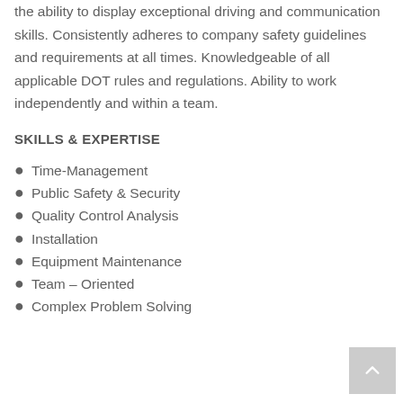the ability to display exceptional driving and communication skills.  Consistently adheres to company safety guidelines and requirements at all times. Knowledgeable of all applicable DOT rules and regulations.  Ability to work independently and within a team.
SKILLS & EXPERTISE
Time-Management
Public Safety  & Security
Quality Control Analysis
Installation
Equipment Maintenance
Team – Oriented
Complex Problem Solving